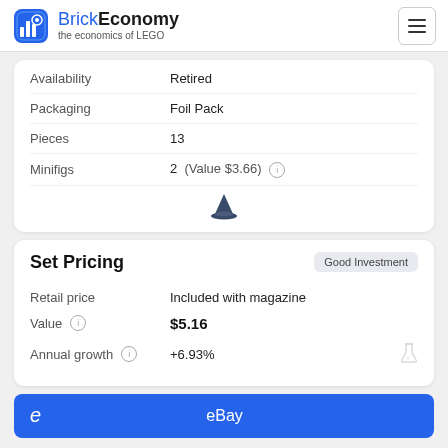BrickEconomy — the economics of LEGO
| Property | Value |
| --- | --- |
| Availability | Retired |
| Packaging | Foil Pack |
| Pieces | 13 |
| Minifigs | 2  (Value $3.66) |
Set Pricing
| Field | Data |
| --- | --- |
| Retail price | Included with magazine |
| Value | $5.16 |
| Annual growth | +6.93% |
Good Investment
eBay